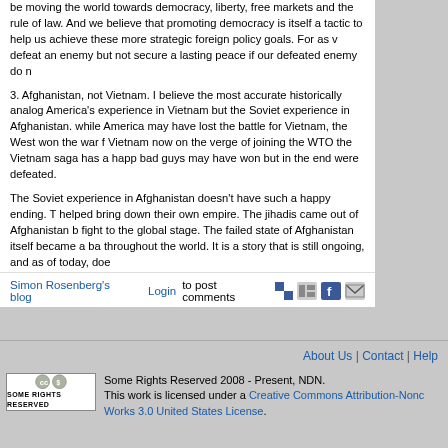be moving the world towards democracy, liberty, free markets and the rule of law. And we believe that promoting democracy is itself a tactic to help us achieve these more strategic foreign policy goals. For as we have seen in so many places in today's world, you can defeat an enemy but not secure a lasting peace if our defeated enemy does not become a democracy.
3. Afghanistan, not Vietnam. I believe the most accurate historically analogous situation for America is not America's experience in Vietnam but the Soviet experience in Afghanistan. And there is good news and bad news here: while America may have lost the battle for Vietnam, the West won the war for freedom and security. With Vietnam now on the verge of joining the WTO the Vietnam saga has a happy ending - the bad guys lost. Yes the bad guys may have won but in the end were defeated.
The Soviet experience in Afghanistan doesn't have such a happy ending. The Soviets left and it helped bring down their own empire. The jihadis came out of Afghanistan battle-hardened and ready to fight to the global stage. The failed state of Afghanistan itself became a base for terrorism and radicalism throughout the world. It is a story that is still ongoing, and as of today, does not have a happy ending.
In fact the Soviet abandonment of Afghanistan and what happened next there is a cautionary tale for those looking to find a new and better way in Iraq. Pulling our troops out and leaving Iraq in civil war and leaving Al-Qaeda with a beachhead in western Iraq - as they had in Afghanistan - is perhaps the very unappealing potential outcome of all the potential outcomes in Iraq.
Simon Rosenberg's blog   Login to post comments
About Us | Contact | Help
Some Rights Reserved 2008 - Present, NDN. This work is licensed under a Creative Commons Attribution-NonCommercial-ShareAlike Works 3.0 United States License.